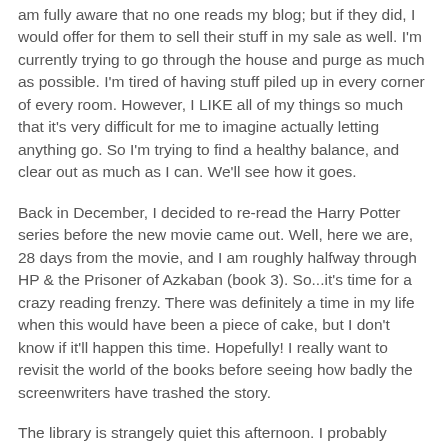am fully aware that no one reads my blog; but if they did, I would offer for them to sell their stuff in my sale as well. I'm currently trying to go through the house and purge as much as possible. I'm tired of having stuff piled up in every corner of every room. However, I LIKE all of my things so much that it's very difficult for me to imagine actually letting anything go. So I'm trying to find a healthy balance, and clear out as much as I can. We'll see how it goes.
Back in December, I decided to re-read the Harry Potter series before the new movie came out. Well, here we are, 28 days from the movie, and I am roughly halfway through HP & the Prisoner of Azkaban (book 3). So...it's time for a crazy reading frenzy. There was definitely a time in my life when this would have been a piece of cake, but I don't know if it'll happen this time. Hopefully! I really want to revisit the world of the books before seeing how badly the screenwriters have trashed the story.
The library is strangely quiet this afternoon. I probably shouldn't have said that. Now we'll be overrun with screaming children. Oops...